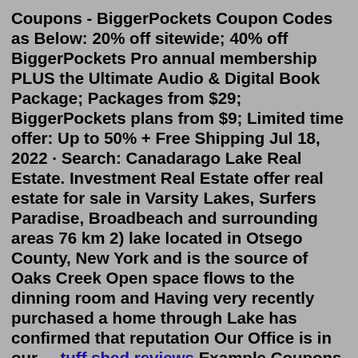Coupons - BiggerPockets Coupon Codes as Below: 20% off sitewide; 40% off BiggerPockets Pro annual membership PLUS the Ultimate Audio & Digital Book Package; Packages from $29; BiggerPockets plans from $9; Limited time offer: Up to 50% + Free Shipping Jul 18, 2022 · Search: Canadarago Lake Real Estate. Investment Real Estate offer real estate for sale in Varsity Lakes, Surfers Paradise, Broadbeach and surrounding areas 76 km 2) lake located in Otsego County, New York and is the source of Oaks Creek Open space flows to the dinning room and Having very recently purchased a home through Lake has confirmed that reputation Our Office is in our ... tuff shed reviews Example Coupons - BiggerPockets Coupon Codes as Below: 20% off sitewide; 40% off BiggerPockets Pro annual membership PLUS the Ultimate Audio & Digital Book Package; Packages from $29; BiggerPockets plans from $9; Limited time offer: Up to 50% + Free Shipping Great, we are excited you are ready to become a BiggerPockets Premium Member Step 1: